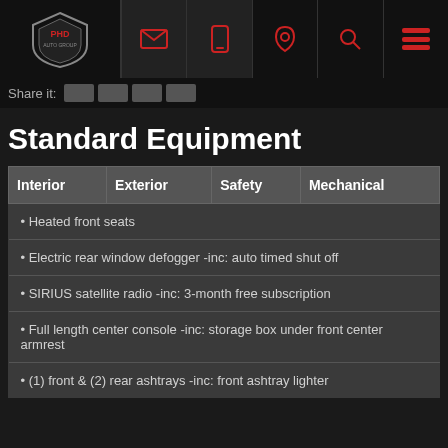PHD Auto Group — navigation header with logo, email, phone, location, search, menu icons
Share it:
Standard Equipment
| Interior | Exterior | Safety | Mechanical |
| --- | --- | --- | --- |
| • Heated front seats |  |  |  |
| • Electric rear window defogger -inc: auto timed shut off |  |  |  |
| • SIRIUS satellite radio -inc: 3-month free subscription |  |  |  |
| • Full length center console -inc: storage box under front center armrest |  |  |  |
| • (1) front & (2) rear ashtrays -inc: front ashtray lighter |  |  |  |